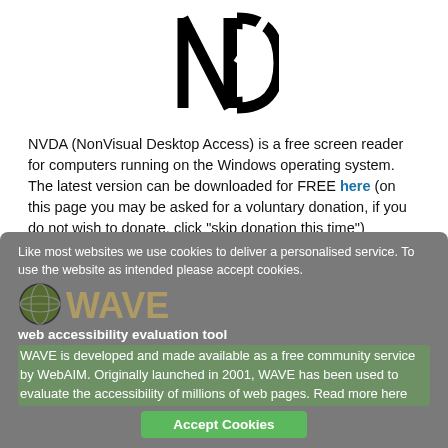[Figure (logo): NVDA logo — stylized N and D letters in bold black outline]
NVDA (NonVisual Desktop Access) is a free screen reader for computers running on the Windows operating system. The latest version can be downloaded for FREE here (on this page you may be asked for a voluntary donation, if you do not wish to donate, click "skip donation this time")
[Figure (logo): WAVE web accessibility evaluation tool logo — orange W with circular globe icon]
Like most websites we use cookies to deliver a personalised service. To use the website as intended please accept cookies.
web accessibility evaluation tool
WAVE is developed and made available as a free community service by WebAIM. Originally launched in 2001, WAVE has been used to evaluate the accessibility of millions of web pages. Read more here
Accept Cookies